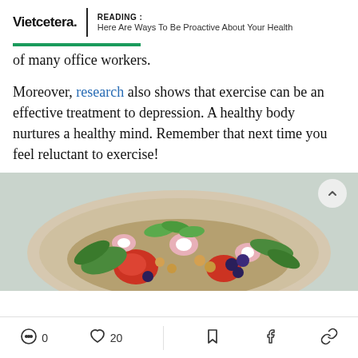Vietcetera. | READING : Here Are Ways To Be Proactive About Your Health
of many office workers.
Moreover, research also shows that exercise can be an effective treatment to depression. A healthy body nurtures a healthy mind. Remember that next time you feel reluctant to exercise!
[Figure (photo): A bowl of healthy food including salad greens, tomatoes, blueberries, chickpeas, radish slices, and mixed grains on a light gray surface.]
0  20  [bookmark]  [facebook]  [link]